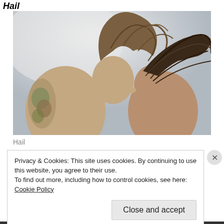Hail
[Figure (photo): Two people leaning heads together with wind-blown hair, one with tattoos on arm, against a grey sky background.]
Hail
Privacy & Cookies: This site uses cookies. By continuing to use this website, you agree to their use.
To find out more, including how to control cookies, see here: Cookie Policy
Close and accept